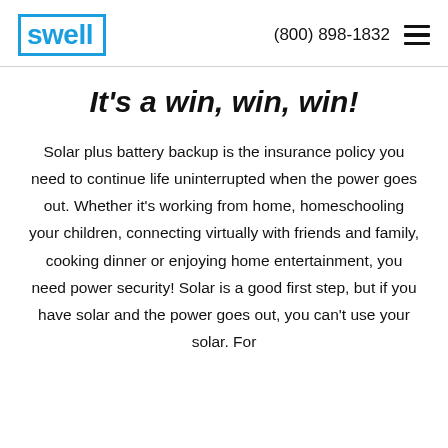swell  (800) 898-1832
It's a win, win, win!
Solar plus battery backup is the insurance policy you need to continue life uninterrupted when the power goes out. Whether it's working from home, homeschooling your children, connecting virtually with friends and family, cooking dinner or enjoying home entertainment, you need power security! Solar is a good first step, but if you have solar and the power goes out, you can't use your solar. For